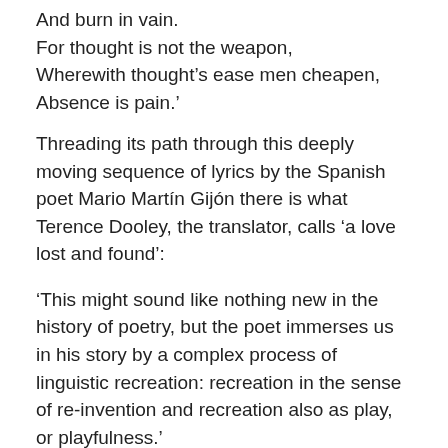And burn in vain.
For thought is not the weapon,
Wherewith thought's ease men cheapen,
Absence is pain.'
Threading its path through this deeply moving sequence of lyrics by the Spanish poet Mario Martín Gijón there is what Terence Dooley, the translator, calls ‘a love lost and found’:
‘This might sound like nothing new in the history of poetry, but the poet immerses us in his story by a complex process of linguistic recreation: recreation in the sense of re-invention and recreation also as play, or playfulness.’
These poems are remarkable in the way that they offer the reader a tangible sense of the abstract. Words, fleeting sounds, do not possess the concrete presence of physical reality but in the mouth of a sophisticated poet and